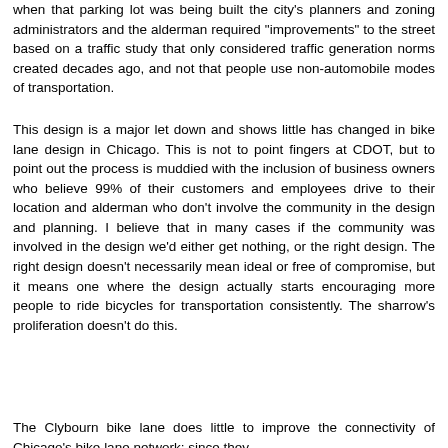when that parking lot was being built the city's planners and zoning administrators and the alderman required "improvements" to the street based on a traffic study that only considered traffic generation norms created decades ago, and not that people use non-automobile modes of transportation.
This design is a major let down and shows little has changed in bike lane design in Chicago. This is not to point fingers at CDOT, but to point out the process is muddied with the inclusion of business owners who believe 99% of their customers and employees drive to their location and alderman who don't involve the community in the design and planning. I believe that in many cases if the community was involved in the design we'd either get nothing, or the right design. The right design doesn't necessarily mean ideal or free of compromise, but it means one where the design actually starts encouraging more people to ride bicycles for transportation consistently. The sharrow's proliferation doesn't do this.
The Clybourn bike lane does little to improve the connectivity of Chicago's bike lane network; since they